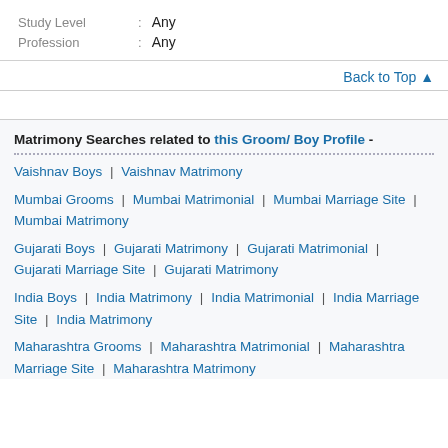Study Level : Any
Profession : Any
Back to Top ↑
Matrimony Searches related to this Groom/ Boy Profile -
Vaishnav Boys | Vaishnav Matrimony
Mumbai Grooms | Mumbai Matrimonial | Mumbai Marriage Site | Mumbai Matrimony
Gujarati Boys | Gujarati Matrimony | Gujarati Matrimonial | Gujarati Marriage Site | Gujarati Matrimony
India Boys | India Matrimony | India Matrimonial | India Marriage Site | India Matrimony
Maharashtra Grooms | Maharashtra Matrimonial | Maharashtra Marriage Site | Maharashtra Matrimony